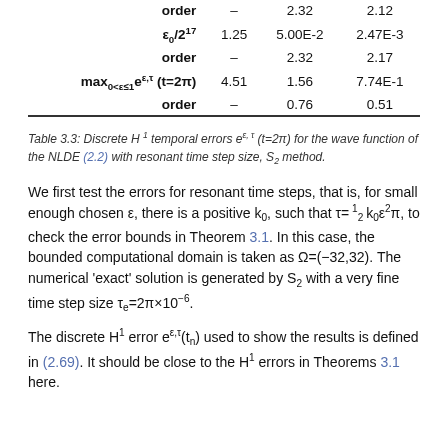|  | – | 2.32 | 2.12 |
| --- | --- | --- | --- |
| order | – | 2.32 | 2.12 |
| ε₀/2¹⁷ | 1.25 | 5.00E-2 | 2.47E-3 |
| order | – | 2.32 | 2.17 |
| max₀<ε≤1 eᵉ'ᵗ (t=2π) | 4.51 | 1.56 | 7.74E-1 |
| order | – | 0.76 | 0.51 |
Table 3.3: Discrete H¹ temporal errors eᵉ'ᵗ (t=2π) for the wave function of the NLDE (2.2) with resonant time step size, S₂ method.
We first test the errors for resonant time steps, that is, for small enough chosen ε, there is a positive k₀, such that τ= 12 k₀ε²π, to check the error bounds in Theorem 3.1. In this case, the bounded computational domain is taken as Ω=(−32,32). The numerical 'exact' solution is generated by S₂ with a very fine time step size τₑ=2π×10⁻⁶.
The discrete H¹ error eᵉ'ᵗ(tₙ) used to show the results is defined in (2.69). It should be close to the H¹ errors in Theorems 3.1 here.